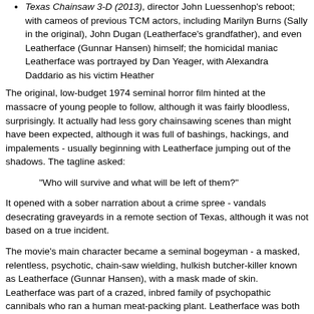Texas Chainsaw 3-D (2013), director John Luessenhop's reboot; with cameos of previous TCM actors, including Marilyn Burns (Sally in the original), John Dugan (Leatherface's grandfather), and even Leatherface (Gunnar Hansen) himself; the homicidal maniac Leatherface was portrayed by Dan Yeager, with Alexandra Daddario as his victim Heather
The original, low-budget 1974 seminal horror film hinted at the massacre of young people to follow, although it was fairly bloodless, surprisingly. It actually had less gory chainsawing scenes than might have been expected, although it was full of bashings, hackings, and impalements - usually beginning with Leatherface jumping out of the shadows. The tagline asked:
"Who will survive and what will be left of them?"
It opened with a sober narration about a crime spree - vandals desecrating graveyards in a remote section of Texas, although it was not based on a true incident.
The movie's main character became a seminal bogeyman - a masked, relentless, psychotic, chain-saw wielding, hulkish butcher-killer known as Leatherface (Gunnar Hansen), with a mask made of skin. Leatherface was part of a crazed, inbred family of psychopathic cannibals who ran a human meat-packing plant. Leatherface was both repulsive and muscular, in his Grand Guignol pursuit of victims.